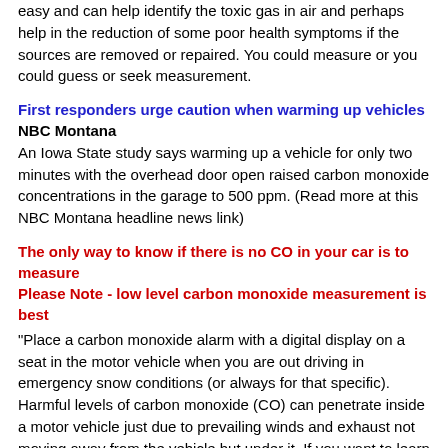easy and can help identify the toxic gas in air and perhaps help in the reduction of some poor health symptoms if the sources are removed or repaired. You could measure or you could guess or seek measurement.
First responders urge caution when warming up vehicles
NBC Montana
An Iowa State study says warming up a vehicle for only two minutes with the overhead door open raised carbon monoxide concentrations in the garage to 500 ppm. (Read more at this NBC Montana headline news link)
The only way to know if there is no CO in your car is to measure
Please Note - low level carbon monoxide measurement is best
"Place a carbon monoxide alarm with a digital display on a seat in the motor vehicle when you are out driving in emergency snow conditions (or always for that specific). Harmful levels of carbon monoxide (CO) can penetrate inside a motor vehicle just due to prevailing winds and exhaust not moving away from the vehicle but under it. If you want to learn more about carbon monoxide, begin measuring it with a personal CO monitor everywhere you go." Bob Dwyer, CSME Carbon Monoxide Safety
Out of breath: Population boom and its impact on air pollution, World News
WION
A rapid increase in the human population, industrialisation, deforestation, economic growth, and vehicular emissions have been attributed as major